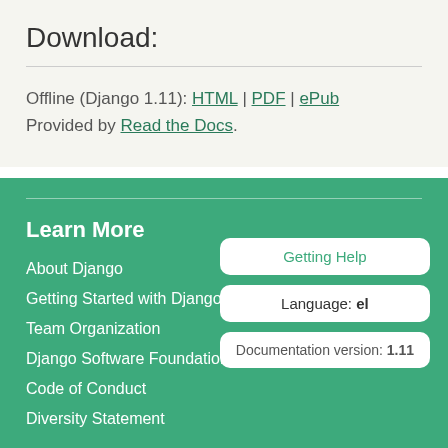Download:
Offline (Django 1.11): HTML | PDF | ePub
Provided by Read the Docs.
Learn More
About Django
Getting Started with Django
Team Organization
Django Software Foundation
Code of Conduct
Diversity Statement
Getting Help
Language: el
Documentation version: 1.11